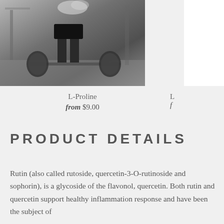[Figure (photo): Athlete in a gym standing over a barbell with weight plates on the floor, dark dramatic lighting]
L-Proline
from $9.00
L
f
PRODUCT DETAILS
Rutin (also called rutoside, quercetin-3-O-rutinoside and sophorin), is a glycoside of the flavonol, quercetin. Both rutin and quercetin support healthy inflammation response and have been the subject of